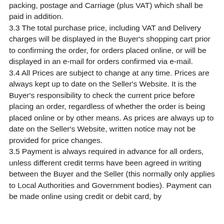packing, postage and Carriage (plus VAT) which shall be paid in addition.
3.3 The total purchase price, including VAT and Delivery charges will be displayed in the Buyer's shopping cart prior to confirming the order, for orders placed online, or will be displayed in an e-mail for orders confirmed via e-mail.
3.4 All Prices are subject to change at any time. Prices are always kept up to date on the Seller's Website. It is the Buyer's responsibility to check the current price before placing an order, regardless of whether the order is being placed online or by other means. As prices are always up to date on the Seller's Website, written notice may not be provided for price changes.
3.5 Payment is always required in advance for all orders, unless different credit terms have been agreed in writing between the Buyer and the Seller (this normally only applies to Local Authorities and Government bodies). Payment can be made online using credit or debit card, by